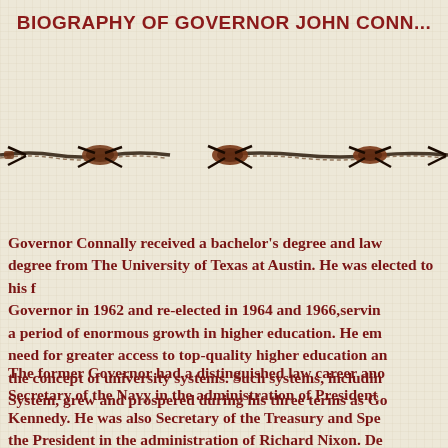BIOGRAPHY OF GOVERNOR JOHN CONN...
[Figure (illustration): Decorative barbed wire illustration spanning the width of the page]
Governor Connally received a bachelor's degree and law degree from The University of Texas at Austin. He was elected to his first term as Governor in 1962 and re-elected in 1964 and 1966, serving during a period of enormous growth in higher education. He emphasized the need for greater access to top-quality higher education and embraced the concept of university systems. Such systems, including the UT System, grew and prospered during his three terms as Governor.
The former Governor had a distinguished law career and served as Secretary of the Navy in the administration of President John F. Kennedy. He was also Secretary of the Treasury and Special Advisor to the President in the administration of Richard Nixon. De... B. Connally's (1917-1993) appointment as Secretary of th...